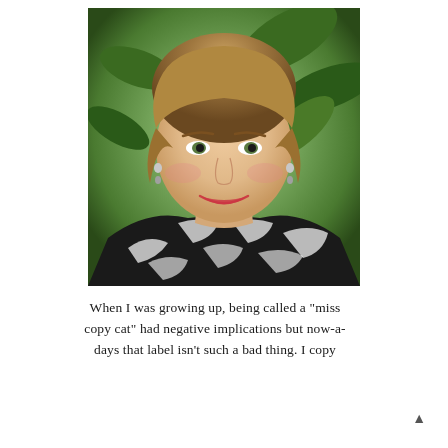[Figure (photo): Portrait photo of a middle-aged woman with short brown hair, smiling, wearing a black and white zebra-print top and a necklace with dangling earrings, posed in front of green leafy plants outdoors.]
When I was growing up, being called a "miss copy cat" had negative implications but now-a-days that label isn't such a bad thing. I copy